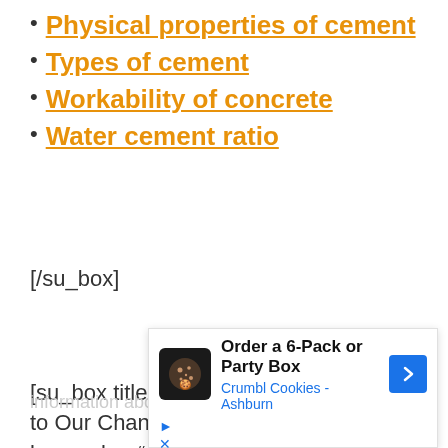Physical properties of cement
Types of cement
Workability of concrete
Water cement ratio
[/su_box]
[su_box title="Don’t Forget to Subscribe to Our Channel" style="glass" box_color="#f64420"]Are you willing to stay tuned to a whole lot of fun and
[Figure (screenshot): Advertisement overlay showing Crumbl Cookies - Ashburn ad with cookie icon, blue arrow button, play and close controls]